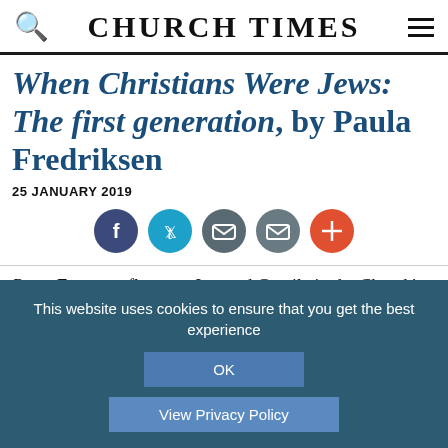CHURCH TIMES
When Christians Were Jews: The first generation, by Paula Fredriksen
25 JANUARY 2019
[Figure (other): Social sharing icons row: Facebook (dark blue), Twitter (blue), message (grey), email (grey), plus/more (red-orange)]
Peter Forster reflects on Jew and Gentile in the Church's d
This website uses cookies to ensure that you get the best experience